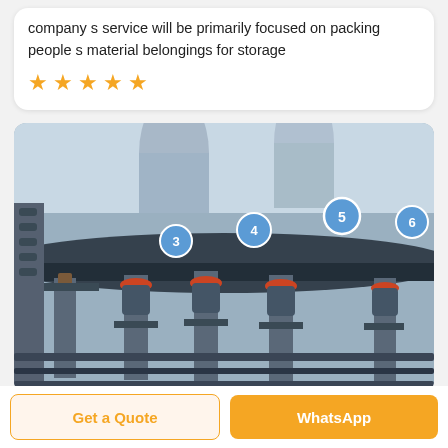company s service will be primarily focused on packing people s material belongings for storage
[Figure (other): Five orange star rating symbols]
[Figure (photo): Industrial bottling/filling machine with numbered stations (3, 4, 5, 6) visible as blue circles, stainless steel mechanical components with red gaskets]
Get a Quote
WhatsApp